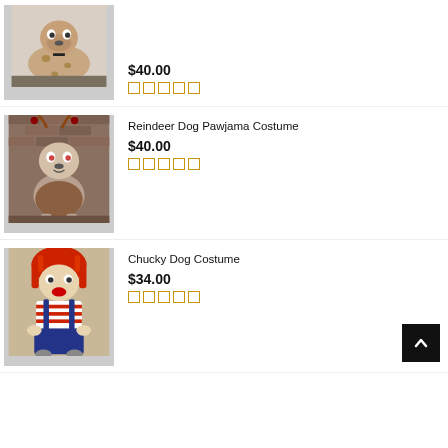[Figure (photo): French bulldog wearing a leopard print pajama costume, sitting on a couch]
$40.00
[Figure (photo): Five empty star rating icons in orange/gold outline]
[Figure (photo): White pitbull-type dog wearing a reindeer dog pawjama costume with antler headpiece, standing on wooden floor against brick wall]
Reindeer Dog Pawjama Costume
$40.00
[Figure (photo): Five empty star rating icons in orange/gold outline]
[Figure (photo): Small dog wearing Chucky costume with red hair wig, striped shirt, overalls, and holding a knife prop]
Chucky Dog Costume
$34.00
[Figure (photo): Five empty star rating icons in orange/gold outline]